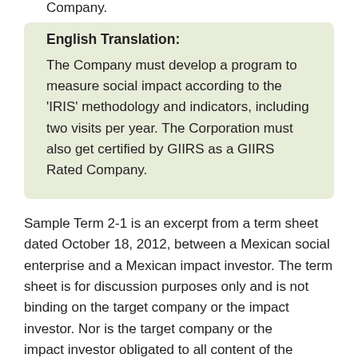English Translation:
The Company must develop a program to measure social impact according to the ‘IRIS’ methodology and indicators, including two visits per year. The Corporation must also get certified by GIIRS as a GIIRS Rated Company.
Sample Term 2-1 is an excerpt from a term sheet dated October 18, 2012, between a Mexican social enterprise and a Mexican impact investor. The term sheet is for discussion purposes only and is not binding on the target company or the impact investor. Nor is the target company or the impact investor obligated to all content of the